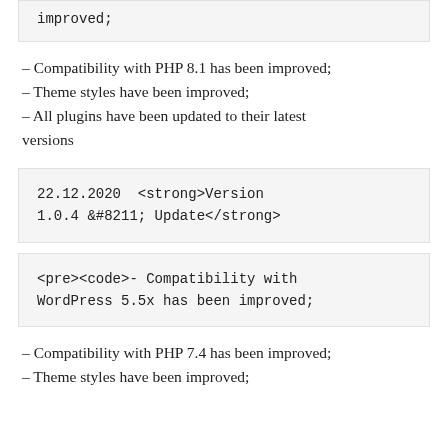improved;
– Compatibility with PHP 8.1 has been improved;
– Theme styles have been improved;
– All plugins have been updated to their latest versions
22.12.2020  <strong>Version 1.0.4 &#8211; Update</strong>
<pre><code>- Compatibility with WordPress 5.5x has been improved;
– Compatibility with PHP 7.4 has been improved;
– Theme styles have been improved;